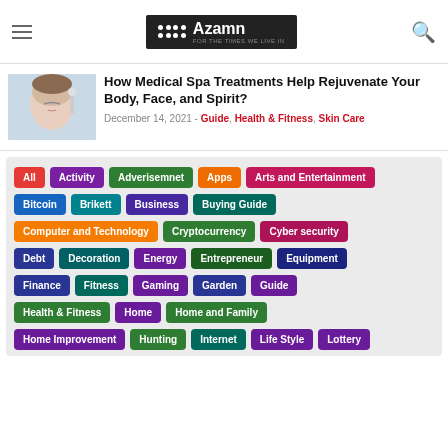Azamn — For The Times We Live In
How Medical Spa Treatments Help Rejuvenate Your Body, Face, and Spirit?
December 14, 2021 - Guide, Health & Fitness, Skin Care
All
Activity
Adverisemnet
Apps
Arts and Entertainment
Bitcoin
Brikett
Business
Buying Guide
Computer and Technology
Cryptocurrency
Cyber security
Debt
Decoration
Energy
Entrepreneur
Equipment
Finance
Fitness
Gaming
Garden
Guide
Health & Fitness
Home
Home and Family
Home Improvement
Hunting
Internet
Life Style
Lottery